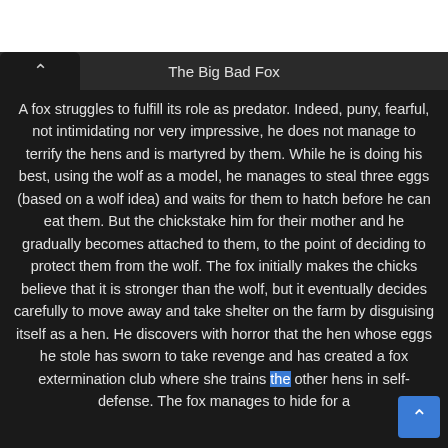The Big Bad Fox
A fox struggles to fulfill its role as predator. Indeed, puny, fearful, not intimidating nor very impressive, he does not manage to terrify the hens and is martyred by them. While he is doing his best, using the wolf as a model, he manages to steal three eggs (based on a wolf idea) and waits for them to hatch before he can eat them. But the chickstake him for their mother and he gradually becomes attached to them, to the point of deciding to protect them from the wolf. The fox initially makes the chicks believe that it is stronger than the wolf, but it eventually decides carefully to move away and take shelter on the farm by disguising itself as a hen. He discovers with horror that the hen whose eggs he stole has sworn to take revenge and has created a fox extermination club where she trains the other hens in self-defense. The fox manages to hide for a